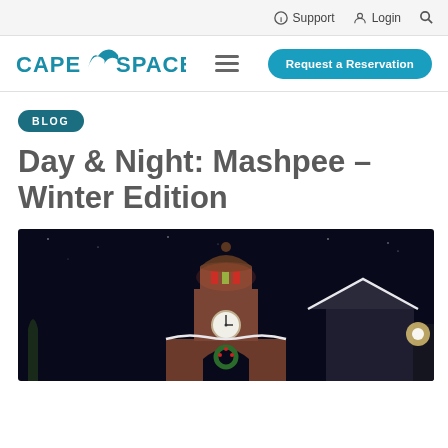Support  Login  Search
[Figure (logo): CapeSpace logo with stylized bird/wave shape between CAPE and SPACE text in teal color]
≡
Request a Reservation
BLOG
Day & Night: Mashpee – Winter Edition
[Figure (photo): Night photo of a brick clock tower building with Christmas lights and wreath, illuminated against a dark sky]